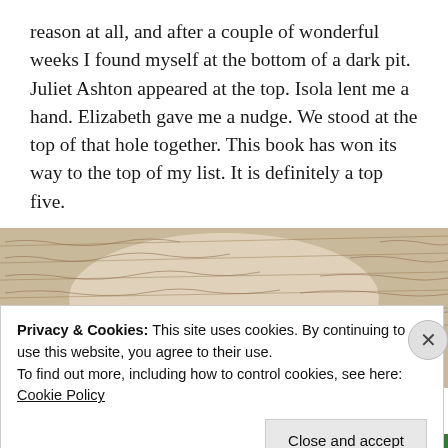reason at all, and after a couple of wonderful weeks I found myself at the bottom of a dark pit. Juliet Ashton appeared at the top. Isola lent me a hand. Elizabeth gave me a nudge. We stood at the top of that hole together. This book has won its way to the top of my list. It is definitely a top five.
[Figure (illustration): Background image of handwritten manuscript text with a quote overlay reading "PERHAPS THERE" in bold serif capital letters]
Privacy & Cookies: This site uses cookies. By continuing to use this website, you agree to their use.
To find out more, including how to control cookies, see here: Cookie Policy
Close and accept